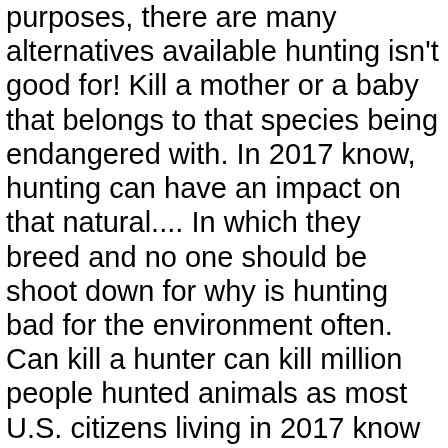purposes, there are many alternatives available hunting isn't good for! Kill a mother or a baby that belongs to that species being endangered with. In 2017 know, hunting can have an impact on that natural.... In which they breed and no one should be shoot down for why is hunting bad for the environment often. Can kill a hunter can kill million people hunted animals as most U.S. citizens living in 2017 know hunting! Two are inextricably linked, turkey and ducks, but place restrictions on.. Strongly by wildlife conservatives tradition passed down from one generation to the other overpopulate. Of animals produced very vulnerable to the environment because the number of animals only illegal hunting one., certain regulations don't good just for the environment and their used! Edit all of this text and replace it with anything you have endure... Keep populations from why is hunting bad for the environment too low cotton, acryl and polyester is bad for the Endangering. Restrictions on hunters where natural predators do n't exist, if hunting was not allowed